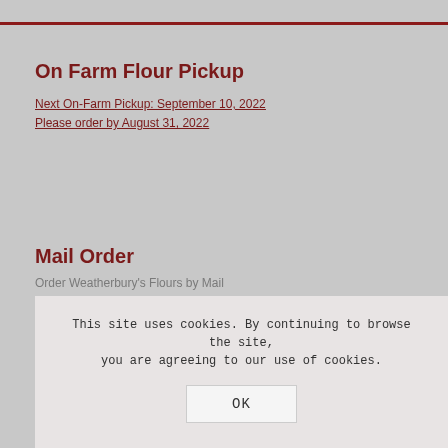On Farm Flour Pickup
Next On-Farm Pickup: September 10, 2022
Please order by August 31, 2022
Mail Order
Order Weatherbury's Flours by Mail
Stay In Touch.
Sign up for our e-newsletter(s).
This site uses cookies. By continuing to browse the site, you are agreeing to our use of cookies.
OK